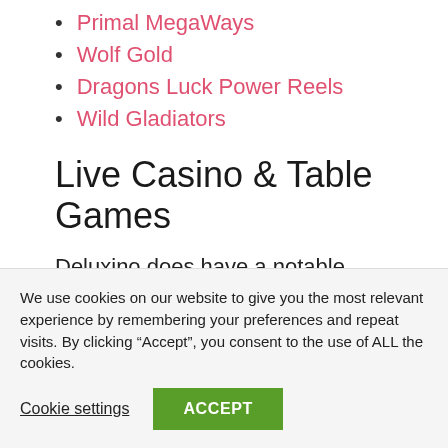Primal MegaWays
Wolf Gold
Dragons Luck Power Reels
Wild Gladiators
Live Casino & Table Games
Deluxino does have a notable slots collection, But, unfortunately, and as usual with most Dragonfish sites there are no live
We use cookies on our website to give you the most relevant experience by remembering your preferences and repeat visits. By clicking “Accept”, you consent to the use of ALL the cookies.
Cookie settings
ACCEPT